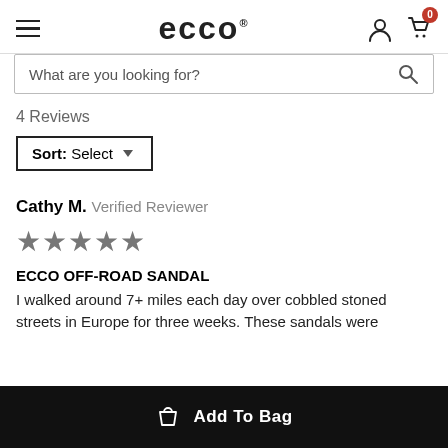ECCO
What are you looking for?
4 Reviews
Sort: Select
Cathy M. Verified Reviewer
[Figure (other): 5 star rating icons]
ECCO OFF-ROAD SANDAL
I walked around 7+ miles each day over cobbled stoned streets in Europe for three weeks. These sandals were
Add To Bag